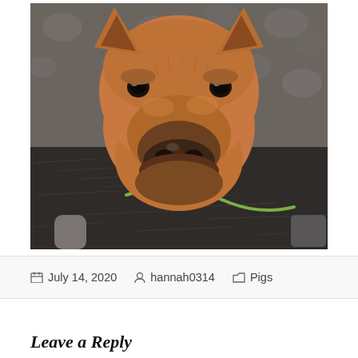[Figure (photo): Close-up photo of a small reddish-brown piglet looking at the camera, snout muddy, standing on dark wood chip ground with a green stem visible.]
📅 July 14, 2020  👤 hannah0314  📁 Pigs